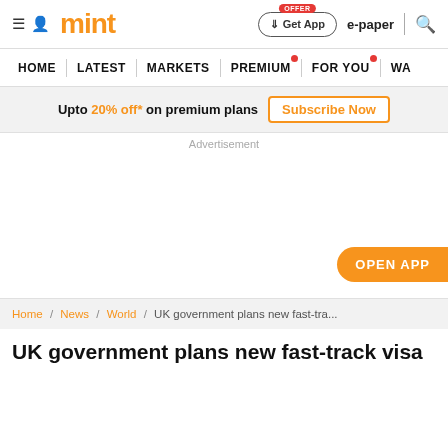mint — Get App | OFFER | e-paper | search
HOME | LATEST | MARKETS | PREMIUM | FOR YOU | WA
Upto 20% off* on premium plans Subscribe Now
Advertisement
OPEN APP
Home / News / World / UK government plans new fast-tra...
UK government plans new fast-track visa